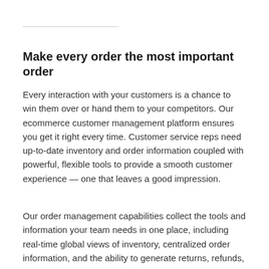Make every order the most important order
Every interaction with your customers is a chance to win them over or hand them to your competitors. Our ecommerce customer management platform ensures you get it right every time. Customer service reps need up-to-date inventory and order information coupled with powerful, flexible tools to provide a smooth customer experience — one that leaves a good impression.
Our order management capabilities collect the tools and information your team needs in one place, including real-time global views of inventory, centralized order information, and the ability to generate returns, refunds,